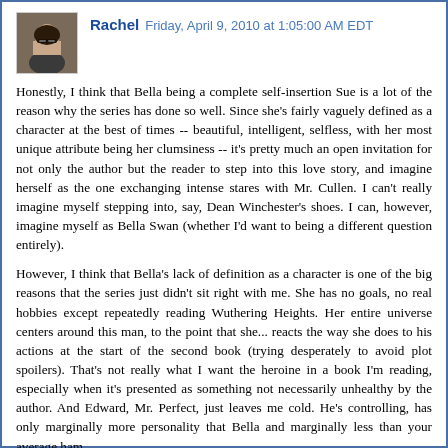[Figure (photo): Small avatar photo of a woman with glasses and dark hair]
Rachel   Friday, April 9, 2010 at 1:05:00 AM EDT
Honestly, I think that Bella being a complete self-insertion Sue is a lot of the reason why the series has done so well. Since she's fairly vaguely defined as a character at the best of times -- beautiful, intelligent, selfless, with her most unique attribute being her clumsiness -- it's pretty much an open invitation for not only the author but the reader to step into this love story, and imagine herself as the one exchanging intense stares with Mr. Cullen. I can't really imagine myself stepping into, say, Dean Winchester's shoes. I can, however, imagine myself as Bella Swan (whether I'd want to being a different question entirely).
However, I think that Bella's lack of definition as a character is one of the big reasons that the series just didn't sit right with me. She has no goals, no real hobbies except repeatedly reading Wuthering Heights. Her entire universe centers around this man, to the point that she... reacts the way she does to his actions at the start of the second book (trying desperately to avoid plot spoilers). That's not really what I want the heroine in a book I'm reading, especially when it's presented as something not necessarily unhealthy by the author. And Edward, Mr. Perfect, just leaves me cold. He's controlling, has only marginally more personality that Bella and marginally less than your average ham